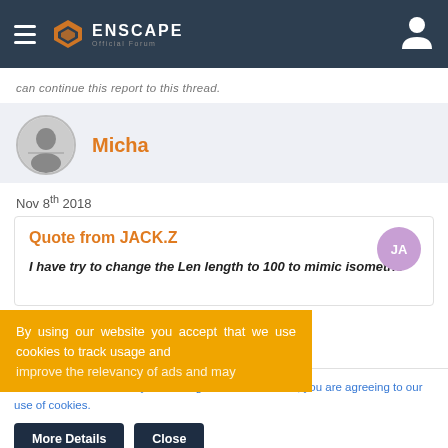Enscape Official Forum - navigation bar
can continue this report to this thread.
Micha
Nov 8th 2018
Quote from JACK.Z
I have try to change the Len length to 100 to mimic isometric
ns and it was
By using our website you accept that we use cookies to track usage and improve the relevancy of ads and may
This site uses cookies. By continuing to browse this site, you are agreeing to our use of cookies.
More Details
Close